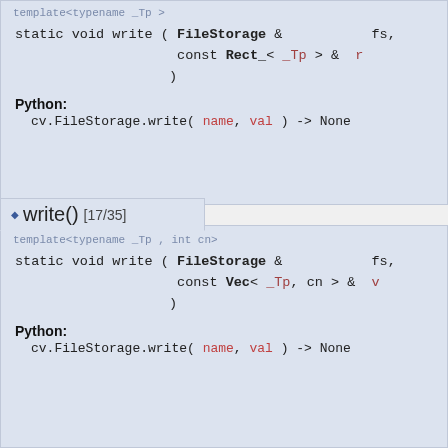template<typename _Tp >
static void write ( FileStorage &  fs,
                    const Rect_< _Tp > &  r
                   )
Python:
cv.FileStorage.write( name, val ) -> None
◆ write() [17/35]
template<typename _Tp , int cn>
static void write ( FileStorage &  fs,
                    const Vec< _Tp, cn > &  v
                   )
Python:
cv.FileStorage.write( name, val ) -> None